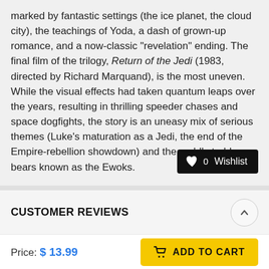marked by fantastic settings (the ice planet, the cloud city), the teachings of Yoda, a dash of grown-up romance, and a now-classic "revelation" ending. The final film of the trilogy, Return of the Jedi (1983, directed by Richard Marquand), is the most uneven. While the visual effects had taken quantum leaps over the years, resulting in thrilling speeder chases and space dogfights, the story is an uneasy mix of serious themes (Luke's maturation as a Jedi, the end of the Empire-rebellion showdown) and the cuddly teddy bears known as the Ewoks.
[Figure (other): Wishlist button with heart icon showing count 0]
CUSTOMER REVIEWS
[Figure (other): Five empty star rating icons]
Be the first to write a review
Price: $ 13.99
[Figure (other): ADD TO CART button with cart icon]